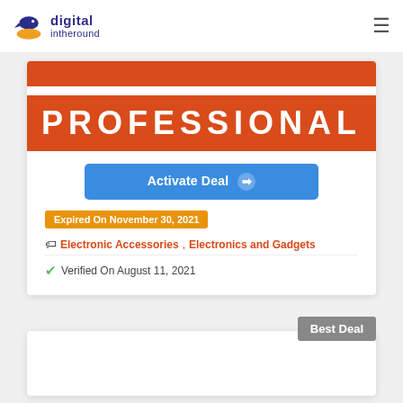digital intheround
[Figure (logo): Digital Intheround logo with a bird/pen icon in blue and orange, and text 'digital intheround' in dark blue]
[Figure (illustration): Orange banner with white text 'PROFESSIONAL' in bold spaced letters, with a narrower orange strip above]
Activate Deal →
Expired On November 30, 2021
Electronic Accessories, Electronics and Gadgets
Verified On August 11, 2021
Best Deal